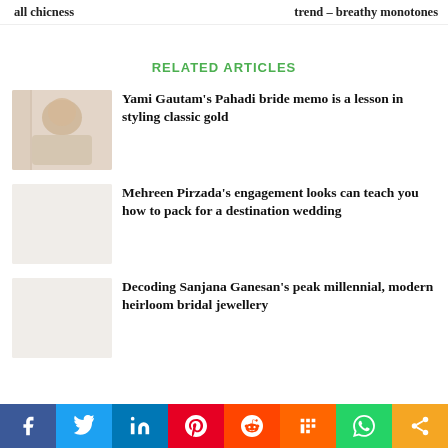all chicness
trend – breathy monotones
RELATED ARTICLES
[Figure (photo): Thumbnail image of Yami Gautam in traditional bridal attire]
Yami Gautam's Pahadi bride memo is a lesson in styling classic gold
Mehreen Pirzada's engagement looks can teach you how to pack for a destination wedding
Decoding Sanjana Ganesan's peak millennial, modern heirloom bridal jewellery
[Figure (infographic): Social sharing bar with Facebook, Twitter, LinkedIn, Pinterest, Reddit, Mix, WhatsApp, and Share buttons]